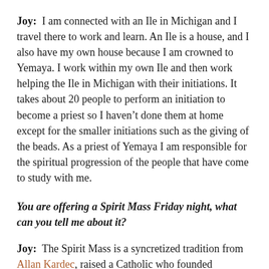Joy: I am connected with an Ile in Michigan and I travel there to work and learn. An Ile is a house, and I also have my own house because I am crowned to Yemaya. I work within my own Ile and then work helping the Ile in Michigan with their initiations. It takes about 20 people to perform an initiation to become a priest so I haven't done them at home except for the smaller initiations such as the giving of the beads. As a priest of Yemaya I am responsible for the spiritual progression of the people that have come to study with me.
You are offering a Spirit Mass Friday night, what can you tell me about it?
Joy: The Spirit Mass is a syncretized tradition from Allan Kardec, raised a Catholic who founded Spiritism in Europe. In America this was called the Spiritualist movement. His books were translated from French to Spanish and arrived